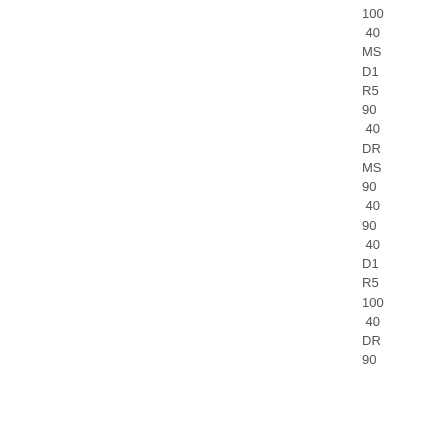100
 40
MS
D1
R5
90
 40
DR
MS
90
 40
90
 40
D1
R5
100
 40
DR
90